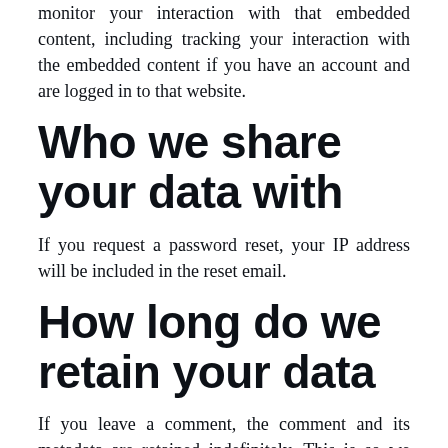monitor your interaction with that embedded content, including tracking your interaction with the embedded content if you have an account and are logged in to that website.
Who we share your data with
If you request a password reset, your IP address will be included in the reset email.
How long do we retain your data
If you leave a comment, the comment and its metadata are retained indefinitely. This is so we can recognize and approve any follow-up comments automatically instead of holding them in a moderation queue.